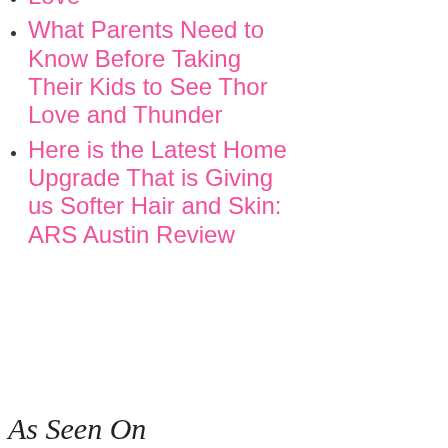Love
What Parents Need to Know Before Taking Their Kids to See Thor Love and Thunder
Here is the Latest Home Upgrade That is Giving us Softer Hair and Skin: ARS Austin Review
As Seen On